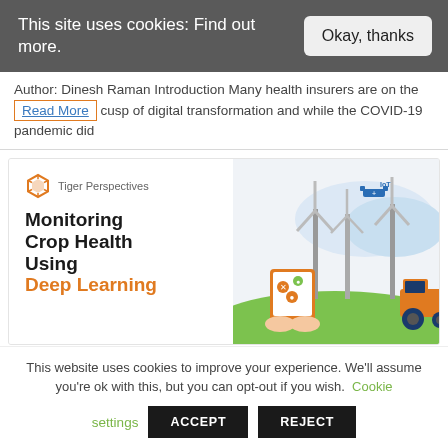This site uses cookies: Find out more.
Okay, thanks
Author: Dinesh Raman Introduction Many health insurers are on the cusp of digital transformation and while the COVID-19 pandemic did
Read More
[Figure (illustration): Article card for 'Monitoring Crop Health Using Deep Learning' by Tiger Perspectives, showing wind turbines, a drone, a tractor, and a person holding a tablet with crop disease detection in an agricultural field setting.]
This website uses cookies to improve your experience. We'll assume you're ok with this, but you can opt-out if you wish. Cookie
settings
ACCEPT
REJECT